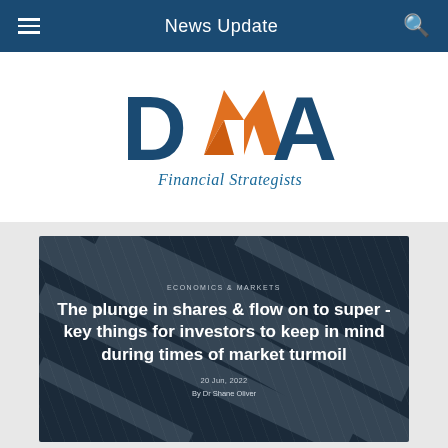News Update
[Figure (logo): DMA Financial Strategists logo with blue D, orange M arrow graphic, and blue A letters, with 'Financial Strategists' tagline in blue italic serif font]
The plunge in shares & flow on to super - key things for investors to keep in mind during times of market turmoil
ECONOMICS & MARKETS
20 Jun, 2022
By Dr Shane Oliver